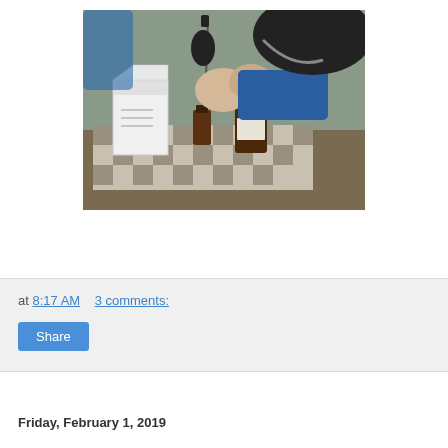[Figure (photo): A person in a blue lab coat and dark head covering using a dropper to transfer liquid into a small amber bottle on a checkered mat, with a white box nearby. Caption reads 'Prepare Epilam'.]
Prepare Epilam
at 8:17 AM     3 comments:
Share
Friday, February 1, 2019